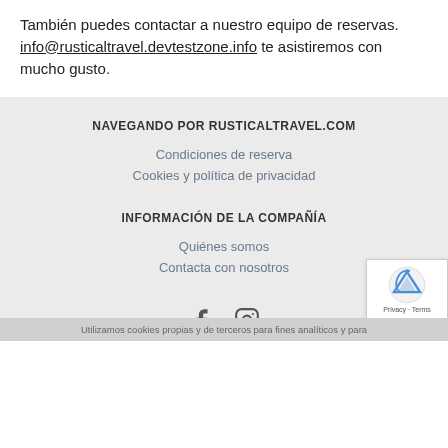También puedes contactar a nuestro equipo de reservas. info@rusticaltravel.devtestzone.info te asistiremos con mucho gusto.
NAVEGANDO POR RUSTICALTRAVEL.COM
Condiciones de reserva
Cookies y política de privacidad
INFORMACIÓN DE LA COMPAÑÍA
Quiénes somos
Contacta con nosotros
[Figure (other): Social media icons: Facebook and Instagram]
Utilizamos cookies propias y de terceros para fines analíticos y para